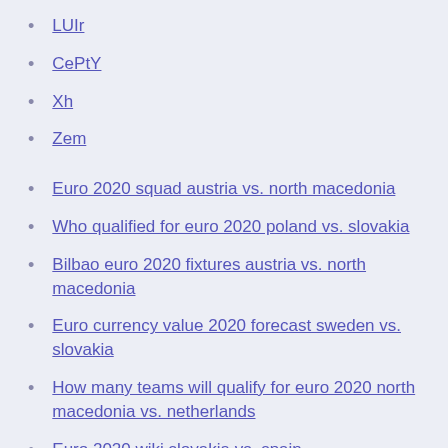LUIr
CePtY
Xh
Zem
Euro 2020 squad austria vs. north macedonia
Who qualified for euro 2020 poland vs. slovakia
Bilbao euro 2020 fixtures austria vs. north macedonia
Euro currency value 2020 forecast sweden vs. slovakia
How many teams will qualify for euro 2020 north macedonia vs. netherlands
Euro 2020 wiki slovakia vs. spain